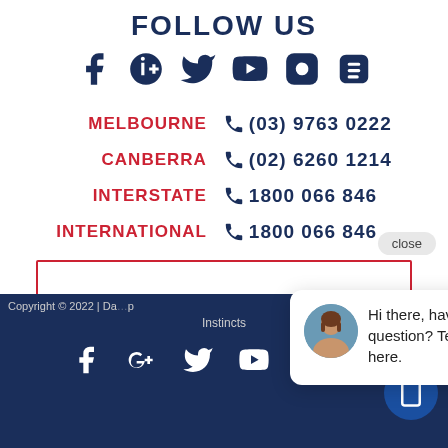FOLLOW US
[Figure (infographic): Social media icons: Facebook, Google+, Twitter, YouTube, Instagram, Blogger in dark navy blue]
MELBOURNE (03) 9763 0222
CANBERRA (02) 6260 1214
INTERSTATE 1800 066 846
INTERNATIONAL 1800 066 846
[Figure (screenshot): Chat popup overlay with avatar photo of woman and text: Hi there, have a question? Text us here. Close button visible.]
Copyright © 2022 | Instincts
[Figure (infographic): Footer social icons: Facebook, Google+, Twitter, YouTube, and phone button on dark navy background]